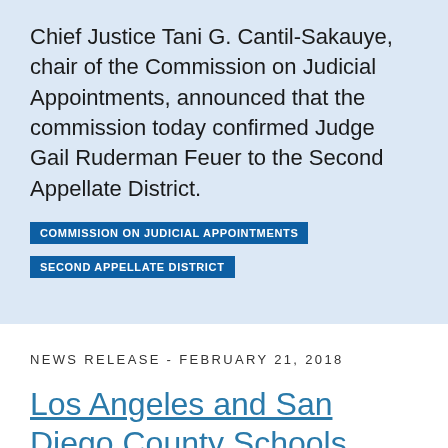Chief Justice Tani G. Cantil-Sakauye, chair of the Commission on Judicial Appointments, announced that the commission today confirmed Judge Gail Ruderman Feuer to the Second Appellate District.
COMMISSION ON JUDICIAL APPOINTMENTS
SECOND APPELLATE DISTRICT
NEWS RELEASE - FEBRUARY 21, 2018
Los Angeles and San Diego County Schools Receive Top Awards for Their Civic Education